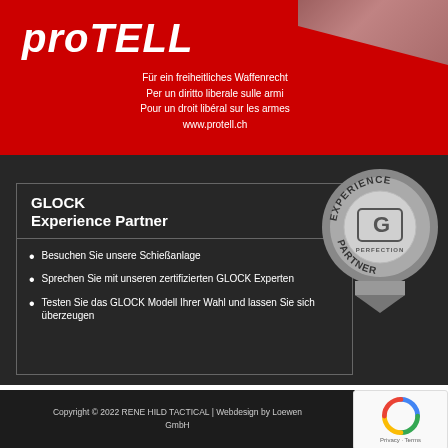[Figure (logo): proTELL logo with red background, white italic bold text 'proTELL', and multilingual taglines plus website]
Für ein freiheitliches Waffenrecht
Per un diritto liberale sulle armi
Pour un droit libéral sur les armes
www.protell.ch
[Figure (logo): GLOCK Experience Partner badge - circular medallion with text EXPERIENCE PARTNER and GLOCK PERFECTION logo, with ribbon below]
GLOCK
Experience Partner
Besuchen Sie unsere Schießanlage
Sprechen Sie mit unseren zertifizierten GLOCK Experten
Testen Sie das GLOCK Modell Ihrer Wahl und lassen Sie sich überzeugen
AGB | Impressum
Copyright © 2022 RENE HILD TACTICAL | Webdesign by Loewen GmbH